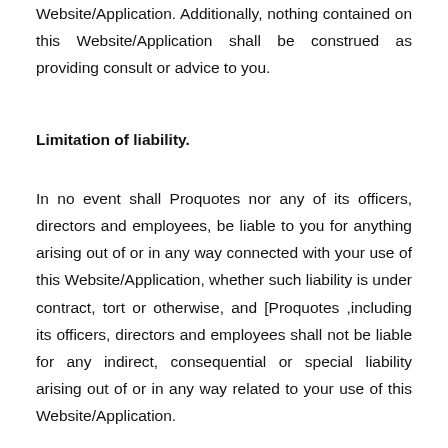Website/Application. Additionally, nothing contained on this Website/Application shall be construed as providing consult or advice to you.
Limitation of liability.
In no event shall Proquotes nor any of its officers, directors and employees, be liable to you for anything arising out of or in any way connected with your use of this Website/Application, whether such liability is under contract, tort or otherwise, and [Proquotes ,including its officers, directors and employees shall not be liable for any indirect, consequential or special liability arising out of or in any way related to your use of this Website/Application.